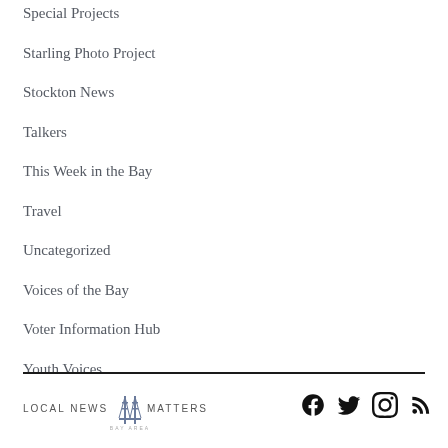Special Projects
Starling Photo Project
Stockton News
Talkers
This Week in the Bay
Travel
Uncategorized
Voices of the Bay
Voter Information Hub
Youth Voices
Local News Matters Bay Area